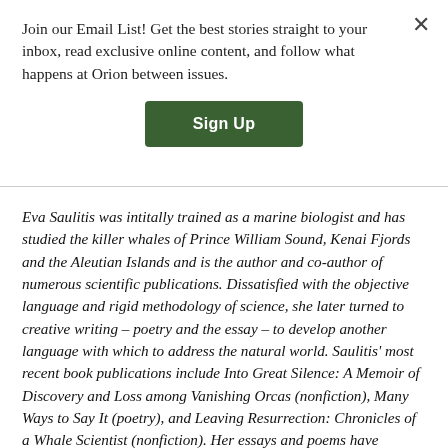Join our Email List! Get the best stories straight to your inbox, read exclusive online content, and follow what happens at Orion between issues.
Sign Up
Eva Saulitis was intitally trained as a marine biologist and has studied the killer whales of Prince William Sound, Kenai Fjords and the Aleutian Islands and is the author and co-author of numerous scientific publications. Dissatisfied with the objective language and rigid methodology of science, she later turned to creative writing – poetry and the essay – to develop another language with which to address the natural world. Saulitis' most recent book publications include Into Great Silence: A Memoir of Discovery and Loss among Vanishing Orcas (nonfiction), Many Ways to Say It (poetry), and Leaving Resurrection: Chronicles of a Whale Scientist (nonfiction). Her essays and poems have appeared in numerous literary journals, including Crazyhorse, Prairie